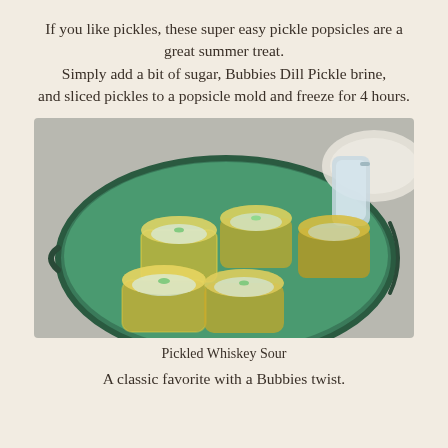If you like pickles, these super easy pickle popsicles are a great summer treat. Simply add a bit of sugar, Bubbies Dill Pickle brine, and sliced pickles to a popsicle mold and freeze for 4 hours.
[Figure (photo): Multiple short round glasses filled with a golden-yellow iced drink garnished with fresh herbs, arranged on a round green tray with lace fabric and a pitcher in the background.]
Pickled Whiskey Sour
A classic favorite with a Bubbies twist.